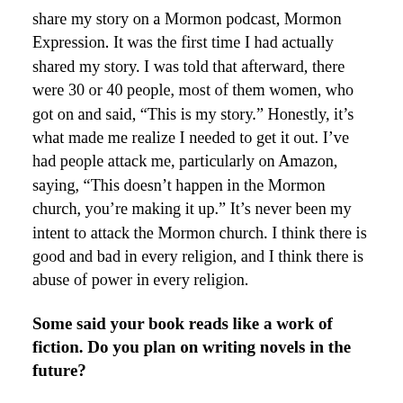share my story on a Mormon podcast, Mormon Expression. It was the first time I had actually shared my story. I was told that afterward, there were 30 or 40 people, most of them women, who got on and said, “This is my story.” Honestly, it’s what made me realize I needed to get it out. I’ve had people attack me, particularly on Amazon, saying, “This doesn’t happen in the Mormon church, you’re making it up.” It’s never been my intent to attack the Mormon church. I think there is good and bad in every religion, and I think there is abuse of power in every religion.
Some said your book reads like a work of fiction. Do you plan on writing novels in the future?
No, actually, my background is in journalism, so to me there is so much power in true, personal